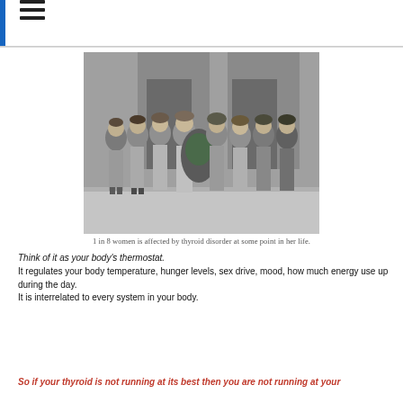☰
[Figure (photo): Vintage black and white photograph of a group of approximately 8 women dressed in 1940s-era clothing, standing together outdoors in front of a brick building. They are wearing hats and coats, and some are holding flowers.]
1 in 8 women is affected by thyroid disorder at some point in her life.
Think of it as your body's thermostat.
It regulates your body temperature, hunger levels, sex drive, mood, how much energy use up during the day.
It is interrelated to every system in your body.
So if your thyroid is not running at its best then you are not running at your